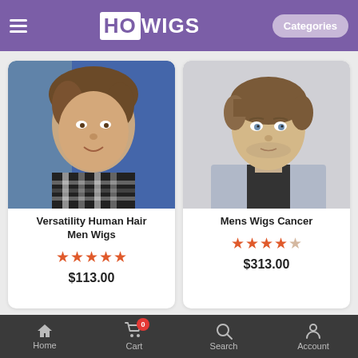HOWIGS — Categories
[Figure (photo): Product card photo: young man with curly brown hair wearing plaid shirt — Versatility Human Hair Men Wigs]
Versatility Human Hair Men Wigs
★★★★★
$113.00
[Figure (photo): Product card photo: young man with short brown hair and light blue shirt — Mens Wigs Cancer]
Mens Wigs Cancer
★★★★☆
$313.00
Home  Cart  0  Search  Account